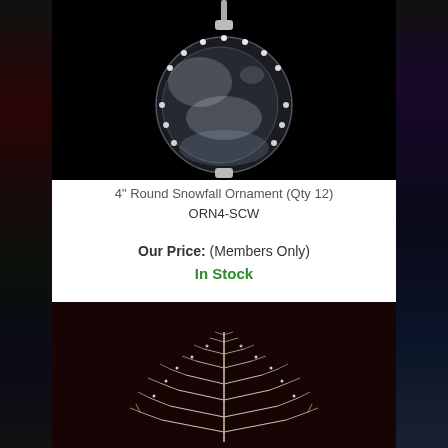[Figure (photo): Clear round glass ornament with LED lights around the rim against black background]
4" Round Snowfall Ornament (Qty 12)
ORN4-SCW
Our Price: (Members Only)
In Stock
[Figure (photo): White/silver wire frame Christmas tree with LED lights against dark maroon/black background]